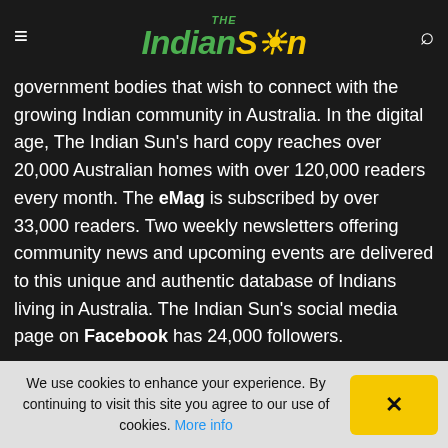The Indian Sun
government bodies that wish to connect with the growing Indian community in Australia. In the digital age, The Indian Sun's hard copy reaches over 20,000 Australian homes with over 120,000 readers every month. The eMag is subscribed by over 33,000 readers. Two weekly newsletters offering community news and upcoming events are delivered to this unique and authentic database of Indians living in Australia. The Indian Sun's social media page on Facebook has 24,000 followers.
PEOPLE BEHIND THE INDIAN SUN
Editor / Sales
Siddharth Gur—
We use cookies to enhance your experience. By continuing to visit this site you agree to our use of cookies. More info